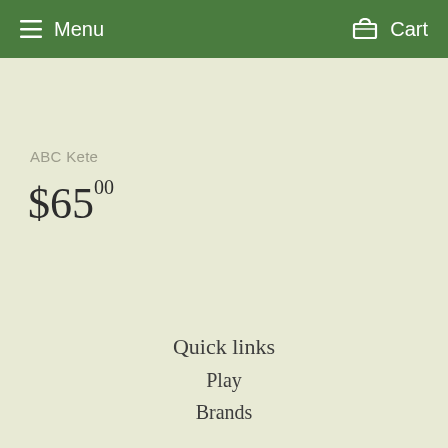Menu   Cart
ABC Kete
$65.00
Quick links
Play
Brands